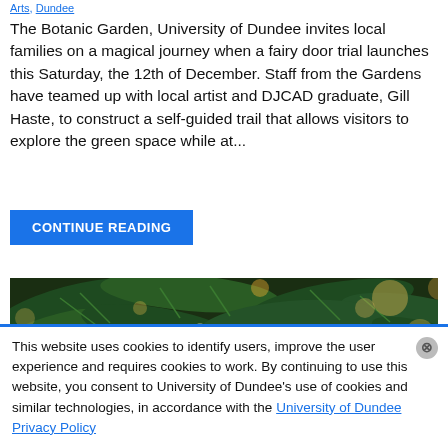Arts, Dundee
The Botanic Garden, University of Dundee invites local families on a magical journey when a fairy door trial launches this Saturday, the 12th of December. Staff from the Gardens have teamed up with local artist and DJCAD graduate, Gill Haste, to construct a self-guided trail that allows visitors to explore the green space while at...
CONTINUE READING
[Figure (photo): Close-up photograph of a Christmas tree with green pine branches, bokeh lights in the background, and a red ornament/bauble hanging prominently in the center-right.]
This website uses cookies to identify users, improve the user experience and requires cookies to work. By continuing to use this website, you consent to University of Dundee's use of cookies and similar technologies, in accordance with the University of Dundee Privacy Policy